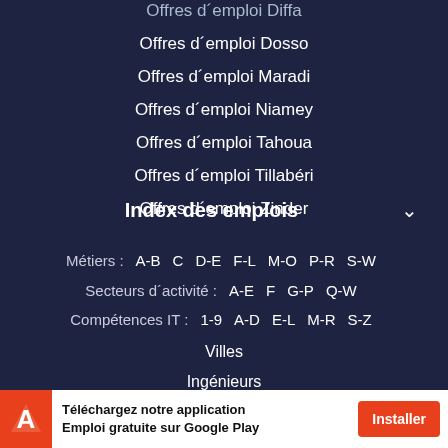Offres d'emploi Diffa
Offres d'emploi Dosso
Offres d'emploi Maradi
Offres d'emploi Niamey
Offres d'emploi Tahoua
Offres d'emploi Tillabéri
Offres d'emploi Zinder
Index des emplois
Métiers : A-B C D-E F-L M-O P-R S-W
Secteurs d'activité : A-E F G-P Q-W
Compétences IT : 1-9 A-D E-L M-R S-Z
Villes
Ingénieurs
Emplois actifs
Téléchargez notre application Emploi gratuite sur Google Play